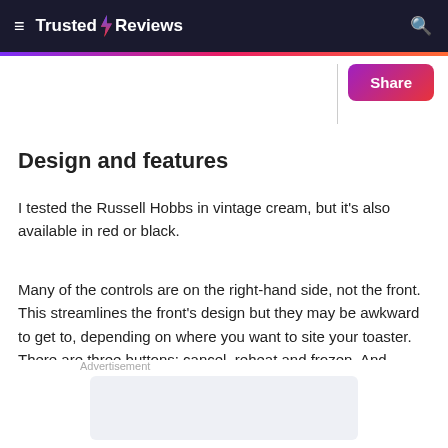≡ Trusted Reviews
Design and features
I tested the Russell Hobbs in vintage cream, but it's also available in red or black.
Many of the controls are on the right-hand side, not the front. This streamlines the front's design but they may be awkward to get to, depending on where you want to site your toaster. There are three buttons: cancel, reheat and frozen. And variable browning control with a lever that slides left to right, from 1 to 6 and anywhere in between.
Advertisement